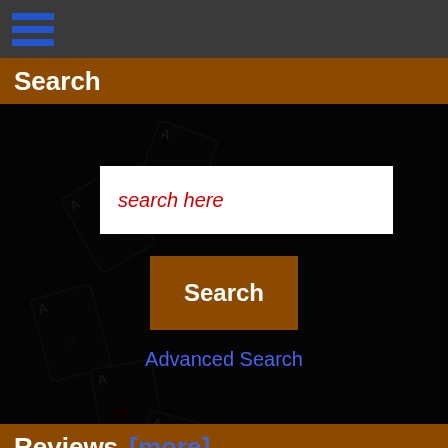Search
search here
Search
Advanced Search
Reviews  [more]
[Figure (illustration): Hand holding a pencil, writing illustration]
Write a review on this product.